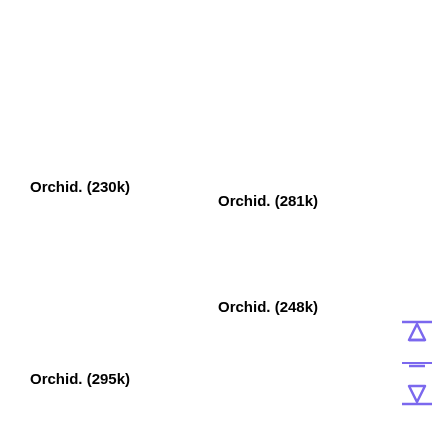Orchid. (230k)
Orchid. (281k)
Orchid. (248k)
Orchid. (295k)
[Figure (other): Two vertical arrows pointing up and down with horizontal lines at the tips, rendered in purple/violet color, indicating scroll or resize controls.]